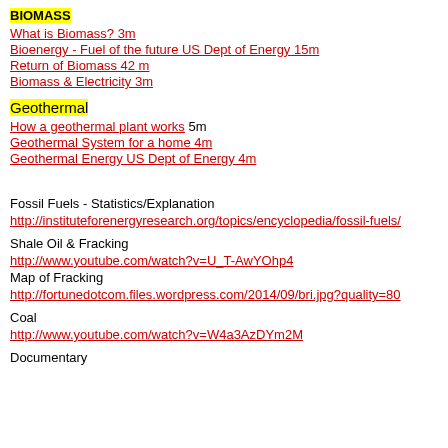BIOMASS
What is Biomass? 3m
Bioenergy - Fuel of the future US Dept of Energy 15m
Return of Biomass 42 m
Biomass & Electricity 3m
Geothermal
How a geothermal plant works 5m
Geothermal System for a home 4m
Geothermal Energy US Dept of Energy 4m
Fossil Fuels - Statistics/Explanation
http://instituteforenergyresearch.org/topics/encyclopedia/fossil-fuels/
Shale Oil & Fracking
http://www.youtube.com/watch?v=U_T-AwYOhp4
Map of Fracking
http://fortunedotcom.files.wordpress.com/2014/09/bri.jpg?quality=80
Coal
http://www.youtube.com/watch?v=W4a3AzDYm2M
Documentary